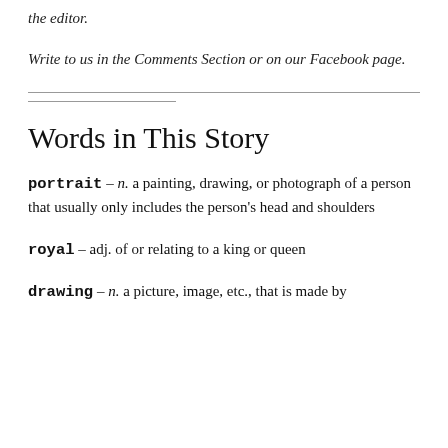the editor.
Write to us in the Comments Section or on our Facebook page.
Words in This Story
portrait – n. a painting, drawing, or photograph of a person that usually only includes the person's head and shoulders
royal – adj. of or relating to a king or queen
drawing – n. a picture, image, etc., that is made by